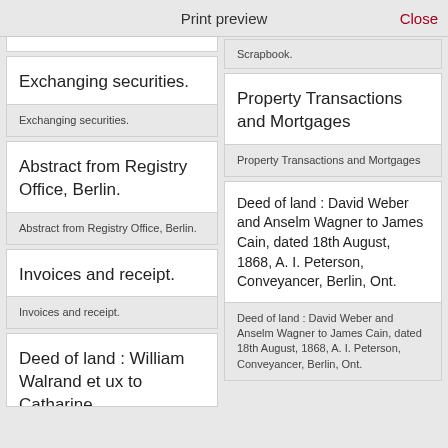Print preview   Close
Exchanging securities.
Exchanging securities.
Abstract from Registry Office, Berlin.
Abstract from Registry Office, Berlin.
Invoices and receipt.
Invoices and receipt.
Deed of land : William Walrand et ux to Catharine
Scrapbook.
Property Transactions and Mortgages
Property Transactions and Mortgages
Deed of land : David Weber and Anselm Wagner to James Cain, dated 18th August, 1868, A. I. Peterson, Conveyancer, Berlin, Ont.
Deed of land : David Weber and Anselm Wagner to James Cain, dated 18th August, 1868, A. I. Peterson, Conveyancer, Berlin, Ont.